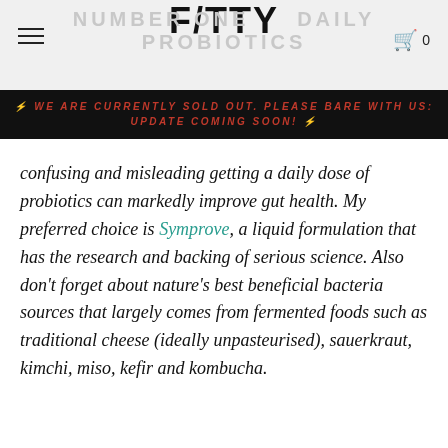F/TTY
⚡ WE ARE CURRENTLY SOLD OUT. PLEASE BARE WITH US: UPDATE COMING SOON! ⚡
confusing and misleading getting a daily dose of probiotics can markedly improve gut health. My preferred choice is Symprove, a liquid formulation that has the research and backing of serious science. Also don't forget about nature's best beneficial bacteria sources that largely comes from fermented foods such as traditional cheese (ideally unpasteurised), sauerkraut, kimchi, miso, kefir and kombucha.